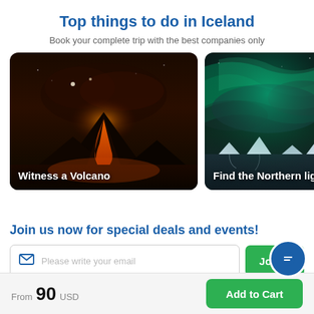Top things to do in Iceland
Book your complete trip with the best companies only
[Figure (photo): Aerial view of a volcanic eruption at night with glowing lava flows, with the caption 'Witness a Volcano']
[Figure (photo): Northern lights over a snowy arctic landscape with icebergs, partially cropped, with the caption 'Find the Northern ligh']
Join us now for special deals and events!
Please write your email
Join n
From 90 USD
Add to Cart